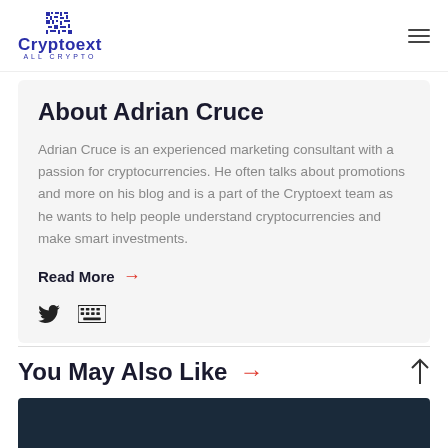Cryptoext ALL CRYPTO
About Adrian Cruce
Adrian Cruce is an experienced marketing consultant with a passion for cryptocurrencies. He often talks about promotions and more on his blog and is a part of the Cryptoext team as he wants to help people understand cryptocurrencies and make smart investments.
Read More →
You May Also Like →
[Figure (photo): Dark-themed image strip at the bottom of the page]